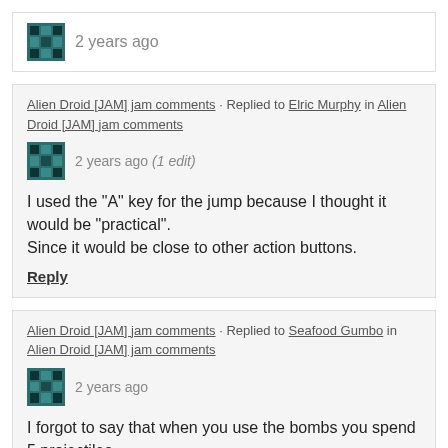2 years ago
Alien Droid [JAM] jam comments · Replied to Elric Murphy in Alien Droid [JAM] jam comments
2 years ago (1 edit)
I used the "A" key for the jump because I thought it would be "practical". Since it would be close to other action buttons.
Reply
Alien Droid [JAM] jam comments · Replied to Seafood Gumbo in Alien Droid [JAM] jam comments
2 years ago
I forgot to say that when you use the bombs you spend 5 projectiles.